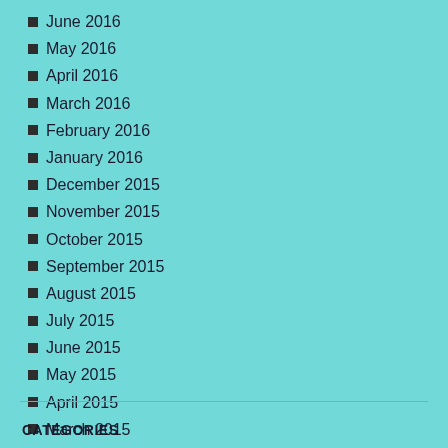June 2016
May 2016
April 2016
March 2016
February 2016
January 2016
December 2015
November 2015
October 2015
September 2015
August 2015
July 2015
June 2015
May 2015
April 2015
March 2015
February 2015
January 2015
CATEGORIES